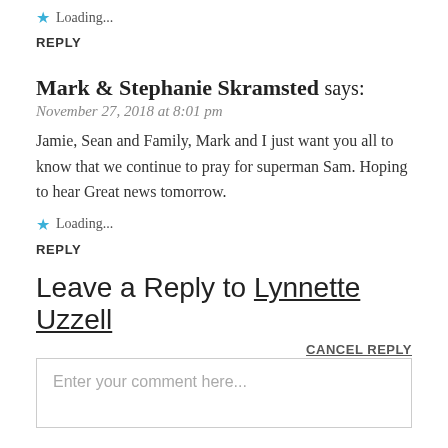Loading...
REPLY
Mark & Stephanie Skramsted says:
November 27, 2018 at 8:01 pm
Jamie, Sean and Family, Mark and I just want you all to know that we continue to pray for superman Sam. Hoping to hear Great news tomorrow.
Loading...
REPLY
Leave a Reply to Lynnette Uzzell
CANCEL REPLY
Enter your comment here...